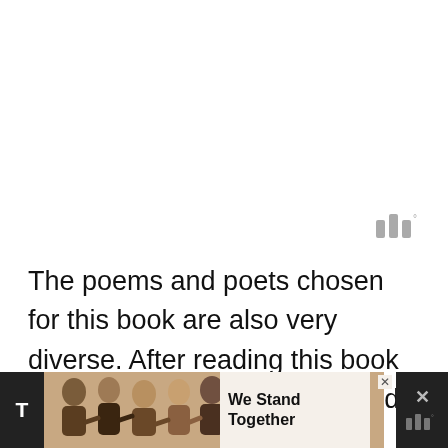[Figure (logo): Three vertical bars logo with superscript degree symbol in gray]
The poems and poets chosen for this book are also very diverse. After reading this book for a year, we've really covered a lot of poetry ground.
[Figure (infographic): Advertisement banner at bottom: 'We Stand Together' with group photo of people with arms around each other, dark sidebar panels on left and right with close X buttons and bar logo]